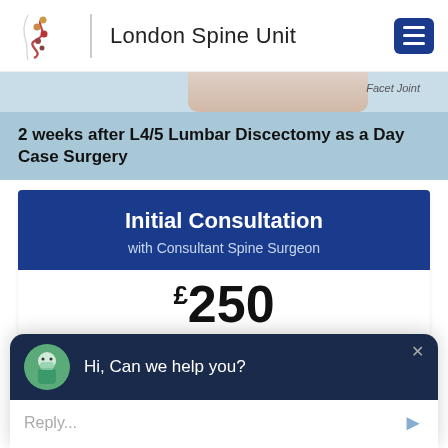[Figure (logo): London Spine Unit logo with spine illustration and site name, plus hamburger menu button]
[Figure (photo): Partial banner image showing a face/patient with 'Facet Joint' label text visible]
2 weeks after L4/5 Lumbar Discectomy as a Day Case Surgery
Initial Consultation
with Consultant Spine Surgeon
£250
Hi, Can we help you?
Reply...